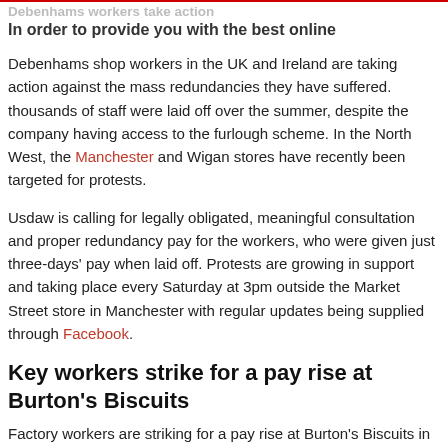Debenhams workers take action
In order to provide you with the best online
Debenhams shop workers in the UK and Ireland are taking action against the mass redundancies they have suffered. thousands of staff were laid off over the summer, despite the company having access to the furlough scheme. In the North West, the Manchester and Wigan stores have recently been targeted for protests.
Usdaw is calling for legally obligated, meaningful consultation and proper redundancy pay for the workers, who were given just three-days' pay when laid off. Protests are growing in support and taking place every Saturday at 3pm outside the Market Street store in Manchester with regular updates being supplied through Facebook.
Key workers strike for a pay rise at Burton's Biscuits
Factory workers are striking for a pay rise at Burton's Biscuits in Edinburgh. GMB says members there have been offered a